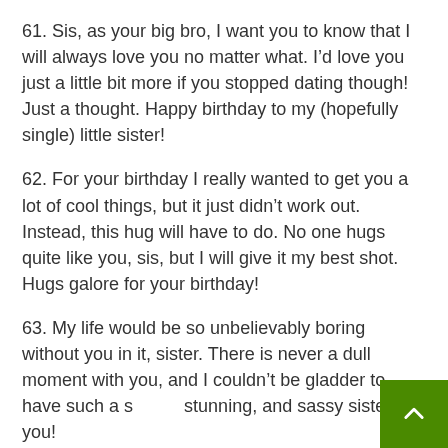61. Sis, as your big bro, I want you to know that I will always love you no matter what. I’d love you just a little bit more if you stopped dating though! Just a thought. Happy birthday to my (hopefully single) little sister!
62. For your birthday I really wanted to get you a lot of cool things, but it just didn’t work out. Instead, this hug will have to do. No one hugs quite like you, sis, but I will give it my best shot. Hugs galore for your birthday!
63. My life would be so unbelievably boring without you in it, sister. There is never a dull moment with you, and I couldn’t be gladder to have such a s stunning, and sassy sister like you!
64. The pleasure of you’re company is so…